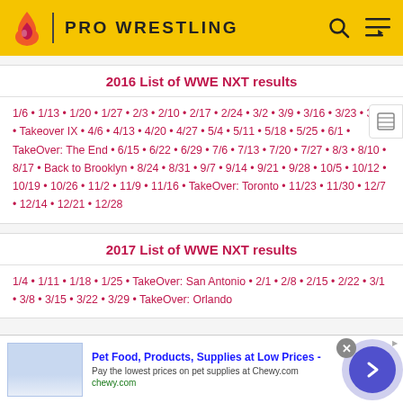PRO WRESTLING
2016 List of WWE NXT results
1/6 • 1/13 • 1/20 • 1/27 • 2/3 • 2/10 • 2/17 • 2/24 • 3/2 • 3/9 • 3/16 • 3/23 • 3/30 • Takeover IX • 4/6 • 4/13 • 4/20 • 4/27 • 5/4 • 5/11 • 5/18 • 5/25 • 6/1 • TakeOver: The End • 6/15 • 6/22 • 6/29 • 7/6 • 7/13 • 7/20 • 7/27 • 8/3 • 8/10 • 8/17 • Back to Brooklyn • 8/24 • 8/31 • 9/7 • 9/14 • 9/21 • 9/28 • 10/5 • 10/12 • 10/19 • 10/26 • 11/2 • 11/9 • 11/16 • TakeOver: Toronto • 11/23 • 11/30 • 12/7 • 12/14 • 12/21 • 12/28
2017 List of WWE NXT results
1/4 • 1/11 • 1/18 • 1/25 • TakeOver: San Antonio • 2/1 • 2/8 • 2/15 • 2/22 • 3/1 • 3/8 • 3/15 • 3/22 • 3/29 • TakeOver: Orlando